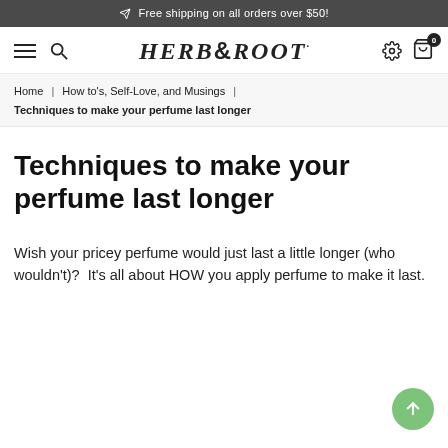Free shipping on all orders over $50!
[Figure (logo): Herb & Root logo with navigation icons (hamburger menu, search, settings, cart)]
Home | How to's, Self-Love, and Musings | Techniques to make your perfume last longer
Techniques to make your perfume last longer
Wish your pricey perfume would just last a little longer (who wouldn't)?  It's all about HOW you apply perfume to make it last.